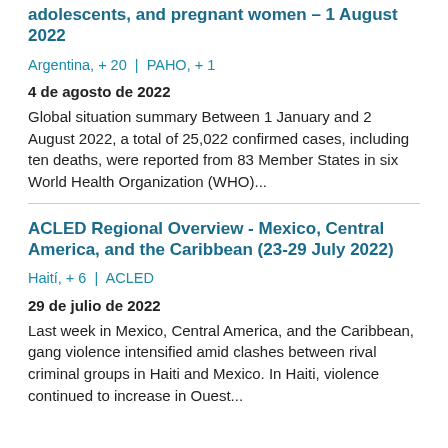adolescents, and pregnant women – 1 August 2022
Argentina, + 20  |  PAHO, + 1
4 de agosto de 2022
Global situation summary Between 1 January and 2 August 2022, a total of 25,022 confirmed cases, including ten deaths, were reported from 83 Member States in six World Health Organization (WHO)...
ACLED Regional Overview - Mexico, Central America, and the Caribbean (23-29 July 2022)
Haití, + 6  |  ACLED
29 de julio de 2022
Last week in Mexico, Central America, and the Caribbean, gang violence intensified amid clashes between rival criminal groups in Haiti and Mexico. In Haiti, violence continued to increase in Ouest...